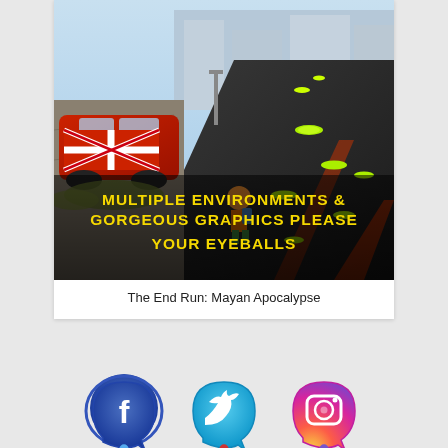[Figure (screenshot): Mobile game screenshot showing a runner character on a city street with a red car bearing a Union Jack flag on the left, green coin discs on the road, and text overlay reading 'MULTIPLE ENVIRONMENTS & GORGEOUS GRAPHICS PLEASE YOUR EYEBALLS']
The End Run: Mayan Apocalypse
[Figure (illustration): Row of social media icon buttons: Facebook (blue circle with f), Twitter (cyan circle with bird), Instagram (gradient pink/orange circle with camera), and partial icons of a fourth row below]